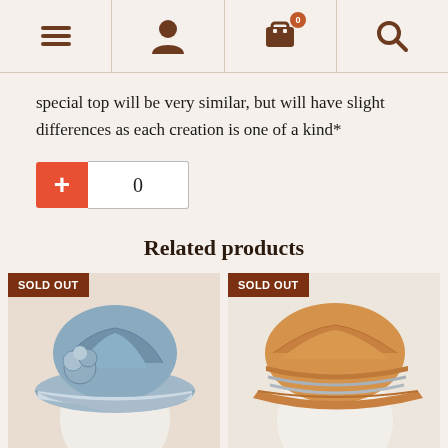Navigation bar with menu, user, cart (0), and search icons
special top will be very similar, but will have slight differences as each creation is one of a kind*
[Figure (screenshot): Quantity selector with red plus button and input field showing 0]
Related products
[Figure (photo): Blue/grey hat with floral detail on mannequin head, SOLD OUT badge]
[Figure (photo): Tan/caramel hat with grey stripes on mannequin head, SOLD OUT badge]